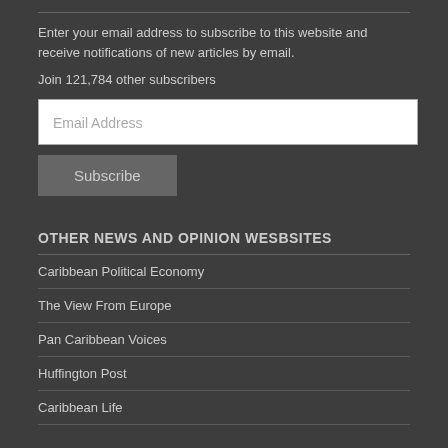Enter your email address to subscribe to this website and receive notifications of new articles by email.
Join 121,784 other subscribers
OTHER NEWS AND OPINION WESBSITES
Caribbean Political Economy
The View From Europe
Pan Caribbean Voices
Huffington Post
Caribbean Life